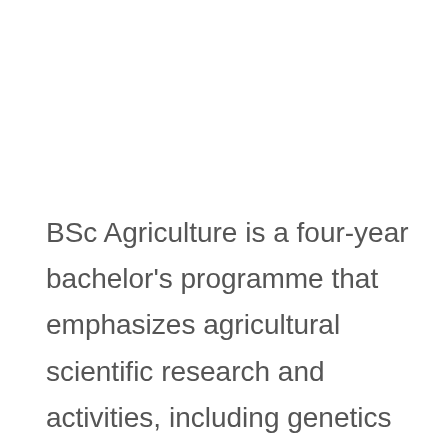BSc Agriculture is a four-year bachelor's programme that emphasizes agricultural scientific research and activities, including genetics and plant breeding, Agricultural Microbiology, Soil Science, Plant Pathology, and so on. It is a graduate degree in agricultural science recognized by the Indian government. This programme is designed to prepare students to